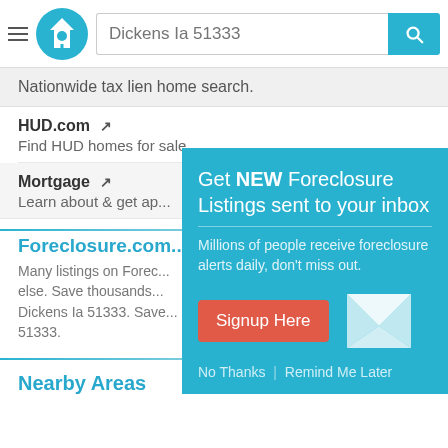Dickens Ia 51333
Nationwide tax lien home search.
HUD.com — Find HUD homes for sale.
Mortgage — Learn about & get ap...
[Figure (screenshot): Popup overlay on teal background with heading 'Get NEW Foreclosure Listings sent to your inbox', description 'Millions of people receive foreclosure alerts daily, don't miss out.', a Signup Here button, envelope icon, and 'No Thanks | Remind Me Later' links]
Foreclosure.com
Many listings on Forec... else. Save thousands... Dickens Ia 51333. Save... 51333.
Nearby Areas